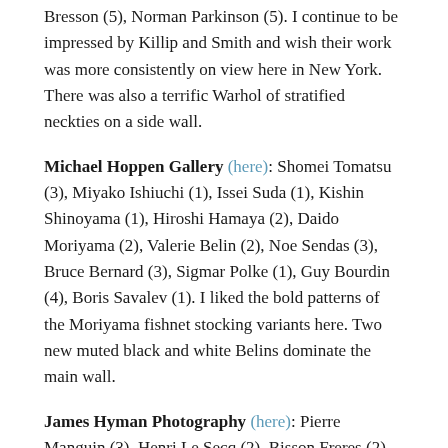Bresson (5), Norman Parkinson (5). I continue to be impressed by Killip and Smith and wish their work was more consistently on view here in New York. There was also a terrific Warhol of stratified neckties on a side wall.
Michael Hoppen Gallery (here): Shomei Tomatsu (3), Miyako Ishiuchi (1), Issei Suda (1), Kishin Shinoyama (1), Hiroshi Hamaya (2), Daido Moriyama (2), Valerie Belin (2), Noe Sendas (3), Bruce Bernard (3), Sigmar Polke (1), Guy Bourdin (4), Boris Savalev (1). I liked the bold patterns of the Moriyama fishnet stocking variants here. Two new muted black and white Belins dominate the main wall.
James Hyman Photography (here): Pierre Manguin (3), Henri Le Secq (2), Bisson Freres (2), Charles Negre (4), Edmund Bacot (2), Louis Alphonse de Brebisson (1),